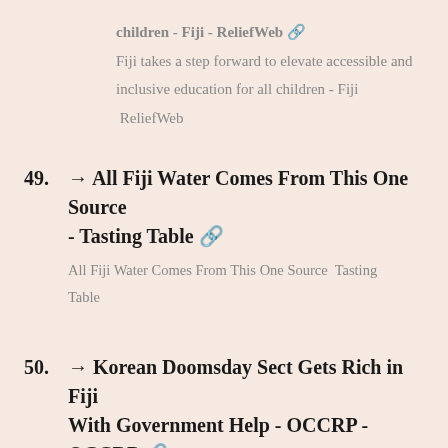Fiji takes a step forward to elevate accessible and inclusive education for all children - Fiji  ReliefWeb
49. → All Fiji Water Comes From This One Source - Tasting Table 🔗
All Fiji Water Comes From This One Source  Tasting Table
50. → Korean Doomsday Sect Gets Rich in Fiji With Government Help - OCCRP - OCCRP 🔗
Korean Doomsday Sect Gets Rich in Fiji With